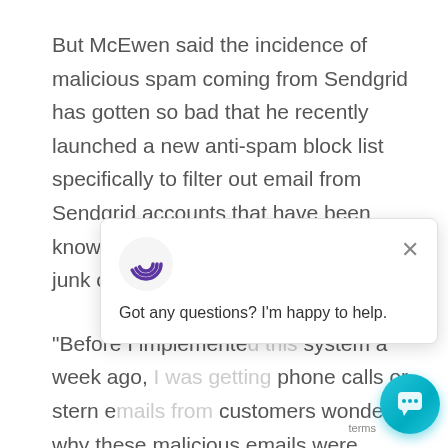But McEwen said the incidence of malicious spam coming from Sendgrid has gotten so bad that he recently launched a new anti-spam block list specifically to filter out email from Sendgrid accounts that have been known to be blasting large volumes of junk or malicious email.
“Before I implemented this system a week ago, I was getting phone calls or stern emails from customers wondering why these malicious emails were getting through to their inboxes,” McEwen said. “And I just am not seeing anything this
[Figure (other): Chat popup widget with a spiral C logo, an X close button, and the text 'Got any questions? I'm happy to help.' along with a teal circular chat button at the bottom right.]